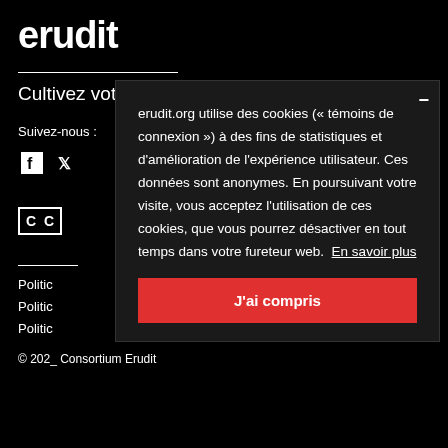erudit
Cultivez votre savoir.
Suivez-nous :
[Figure (logo): Facebook and Twitter social media icons]
[Figure (logo): Creative Commons license box showing 'C C']
Politic
Politic
Politic
© 202_ Consortium Erudit
erudit.org utilise des cookies (« témoins de connexion ») à des fins de statistiques et d'amélioration de l'expérience utilisateur. Ces données sont anonymes. En poursuivant votre visite, vous acceptez l'utilisation de ces cookies, que vous pourrez désactiver en tout temps dans votre fureteur web. En savoir plus
J'ai compris